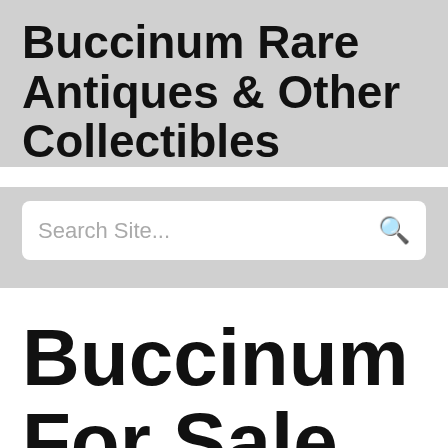Buccinum Rare Antiques & Other Collectibles
[Figure (other): Search site input bar with placeholder text 'Search Site...' and a search icon]
Buccinum For Sale